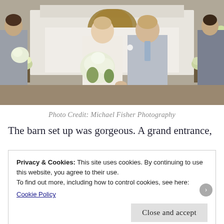[Figure (photo): Wedding photo of a bride and groom walking down the aisle in a church, holding hands and smiling. The bride wears a white lace gown and holds a large white bouquet. The groom wears a light gray suit with a white boutonniere. Bridesmaids in gray dresses and groomsmen are visible in the background.]
Photo Credit: Michael Fisher Photography
The barn set up was gorgeous. A grand entrance,
Privacy & Cookies: This site uses cookies. By continuing to use this website, you agree to their use.
To find out more, including how to control cookies, see here:
Cookie Policy
Close and accept